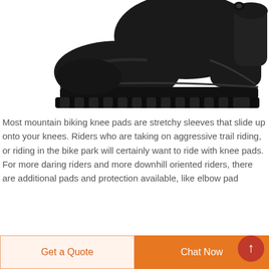[Figure (photo): A black leather safety/work boot with thick rubber lug sole, viewed from a low angle on a white background.]
Most mountain biking knee pads are stretchy sleeves that slide up onto your knees. Riders who are taking on aggressive trail riding, or riding in the bike park will certainly want to ride with knee pads. For more daring riders and more downhill oriented riders, there are additional pads and protection available, like elbow pad
Get a Quote
Chat Now